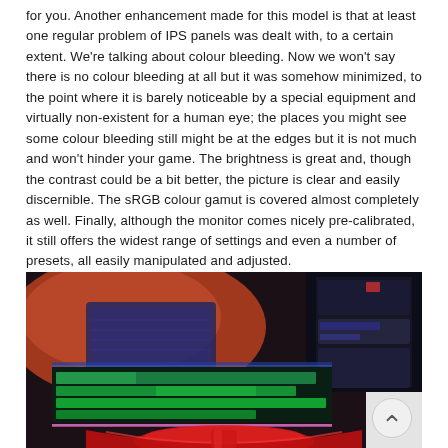for you. Another enhancement made for this model is that at least one regular problem of IPS panels was dealt with, to a certain extent. We're talking about colour bleeding. Now we won't say there is no colour bleeding at all but it was somehow minimized, to the point where it is barely noticeable by a special equipment and virtually non-existent for a human eye; the places you might see some colour bleeding still might be at the edges but it is not much and won't hinder your game. The brightness is great and, though the contrast could be a bit better, the picture is clear and easily discernible. The sRGB colour gamut is covered almost completely as well. Finally, although the monitor comes nicely pre-calibrated, it still offers the widest range of settings and even a number of presets, all easily manipulated and adjusted.
[Figure (photo): Photograph of a curved ultrawide gaming monitor setup showing multiple screens with a video editing timeline visible (green tracks on dark background), a keyboard on an orange/red desk surface in the background, and the distinctive red curved monitor bezel at the bottom of the frame.]